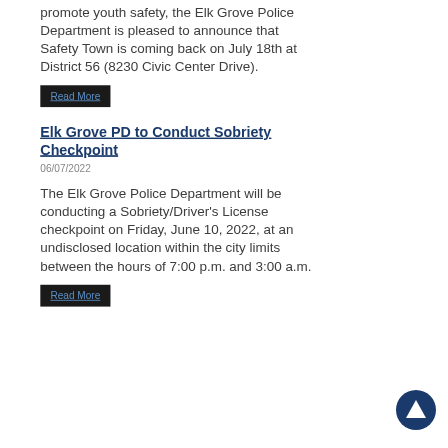promote youth safety, the Elk Grove Police Department is pleased to announce that Safety Town is coming back on July 18th at District 56 (8230 Civic Center Drive).
Read More
Elk Grove PD to Conduct Sobriety Checkpoint
06/07/2022
The Elk Grove Police Department will be conducting a Sobriety/Driver's License checkpoint on Friday, June 10, 2022, at an undisclosed location within the city limits between the hours of 7:00 p.m. and 3:00 a.m.
Read More